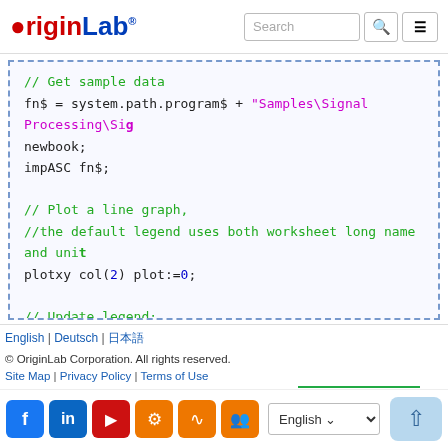OriginLab [Search] [Menu]
// Get sample data
fn$ = system.path.program$ + "Samples\Signal Processing\Si..."
newbook;
impASC fn$;

// Plot a line graph,
//the default legend uses both worksheet long name and unit...
plotxy col(2) plot:=0;

// Update legend;
legendupdate mode:=lu;
English | Deutsch | 日本語
© OriginLab Corporation. All rights reserved.
Site Map | Privacy Policy | Terms of Use